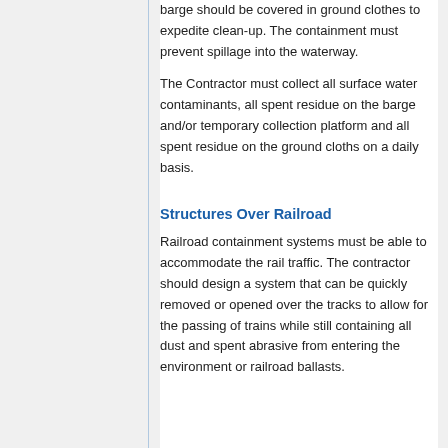barge should be covered in ground clothes to expedite clean-up. The containment must prevent spillage into the waterway.
The Contractor must collect all surface water contaminants, all spent residue on the barge and/or temporary collection platform and all spent residue on the ground cloths on a daily basis.
Structures Over Railroad
Railroad containment systems must be able to accommodate the rail traffic. The contractor should design a system that can be quickly removed or opened over the tracks to allow for the passing of trains while still containing all dust and spent abrasive from entering the environment or railroad ballasts.